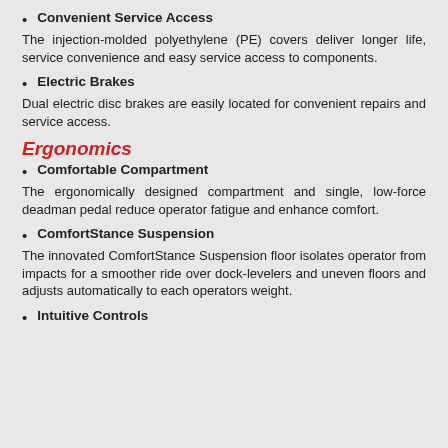Convenient Service Access
The injection-molded polyethylene (PE) covers deliver longer life, service convenience and easy service access to components.
Electric Brakes
Dual electric disc brakes are easily located for convenient repairs and service access.
Ergonomics
Comfortable Compartment
The ergonomically designed compartment and single, low-force deadman pedal reduce operator fatigue and enhance comfort.
ComfortStance Suspension
The innovated ComfortStance Suspension floor isolates operator from impacts for a smoother ride over dock-levelers and uneven floors and adjusts automatically to each operators weight.
Intuitive Controls